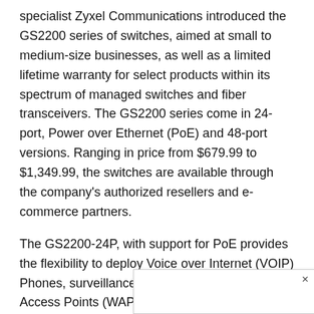specialist Zyxel Communications introduced the GS2200 series of switches, aimed at small to medium-size businesses, as well as a limited lifetime warranty for select products within its spectrum of managed switches and fiber transceivers. The GS2200 series come in 24-port, Power over Ethernet (PoE) and 48-port versions. Ranging in price from $679.99 to $1,349.99, the switches are available through the company's authorized resellers and e-commerce partners.
The GS2200-24P, with support for PoE provides the flexibility to deploy Voice over Internet (VOIP) Phones, surveillance cameras and Wireless Access Points (WAPs) anywhere a CAT5 data cable can reach, the company noted. The non-blocking design of the switches deliver simultaneous, full wire-speed, low-latency throughput to all ports. Four dual personality slots (GE RJ-45/SFP open slots) also provide flexibilit[...] ng loop reach ap[...] y auto